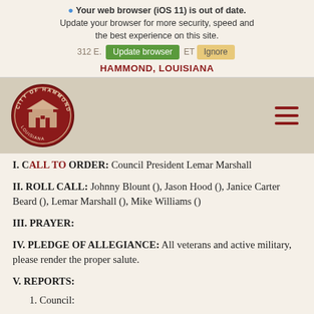Your web browser (iOS 11) is out of date. Update your browser for more security, speed and the best experience on this site.
312 E. CHARLES STREET
HAMMOND, LOUISIANA
[Figure (logo): City of Hammond circular seal logo with dark red background]
I. CALL TO ORDER: Council President Lemar Marshall
II. ROLL CALL: Johnny Blount (), Jason Hood (), Janice Carter Beard (), Lemar Marshall (), Mike Williams ()
III. PRAYER:
IV. PLEDGE OF ALLEGIANCE: All veterans and active military, please render the proper salute.
V. REPORTS:
1. Council: